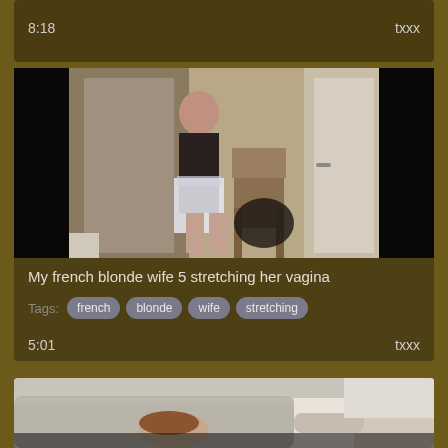8:18   txxx
[Figure (photo): Video thumbnail showing a woman in a maid costume standing in a doorway]
My french blonde wife 5 stretching her vagina
Tags: french  blonde  wife  stretching
5:01   txxx
[Figure (photo): Video thumbnail showing two people on a bed]